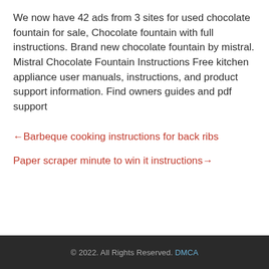We now have 42 ads from 3 sites for used chocolate fountain for sale, Chocolate fountain with full instructions. Brand new chocolate fountain by mistral. Mistral Chocolate Fountain Instructions Free kitchen appliance user manuals, instructions, and product support information. Find owners guides and pdf support
←Barbeque cooking instructions for back ribs
Paper scraper minute to win it instructions→
© 2022. All Rights Reserved. DMCA